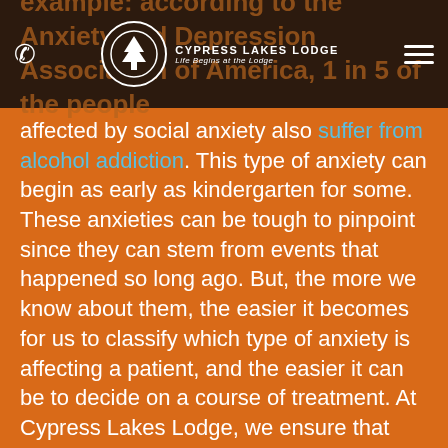Cypress Lakes Lodge — Life Begins at the Lodge
example: according to the Anxiety and Depression Association of America, 1 in 5 of the people affected by social anxiety also suffer from alcohol addiction. This type of anxiety can begin as early as kindergarten for some. These anxieties can be tough to pinpoint since they can stem from events that happened so long ago. But, the more we know about them, the easier it becomes for us to classify which type of anxiety is affecting a patient, and the easier it can be to decide on a course of treatment. At Cypress Lakes Lodge, we ensure that members of our staff can work with patients who struggle with both anxiety and addiction. Our highly qualified doctors and therapists are trained to notice when patients seem to be suffering from a mental health disorder, and our programs are inclusive of people